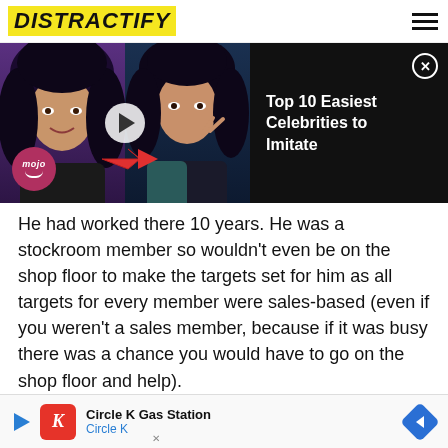DISTRACTIFY
[Figure (screenshot): Video ad banner showing two celebrity images (appearing to be Cher) with a play button and arrow, mojo logo badge, on dark background. Right side shows title 'Top 10 Easiest Celebrities to Imitate' with close button on black panel.]
He had worked there 10 years. He was a stockroom member so wouldn't even be on the shop floor to make the targets set for him as all targets for every member were sales-based (even if you weren't a sales member, because if it was busy there was a chance you would have to go on the shop floor and help).
He had taken off his shoes and placed them to the side so they didn't get wet. He did this because he had to get 2 buses to and from work every day.
T... q...
[Figure (screenshot): Ad banner for Circle K Gas Station showing red Circle K logo, text 'Circle K Gas Station' and 'Circle K', with blue play icon and blue diamond navigation arrow on right.]